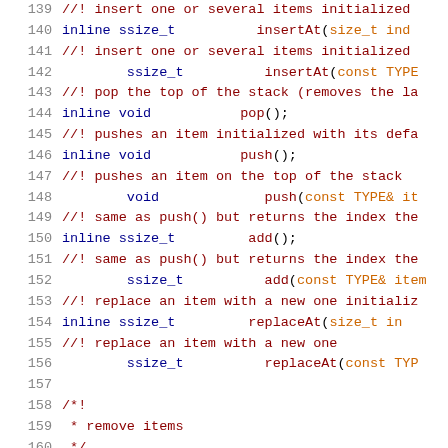[Figure (screenshot): Source code listing showing C++ class method declarations with line numbers 139-160. Lines alternate between documentation comments (//! and /* */ style in dark red) and method signatures (in dark blue/orange). Methods include insertAt, pop, push, add, replaceAt shown with inline/ssize_t/void return types and parameters.]